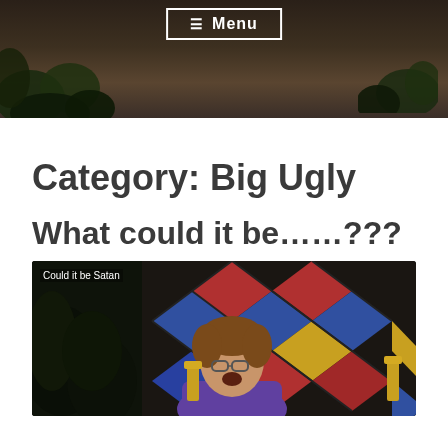[Figure (screenshot): Dark header image with foliage/trees in background and a Menu button with hamburger icon at top center, white bordered button on dark background]
Category: Big Ugly
What could it be……???
[Figure (photo): Video still captioned 'Could it be Satan' showing a young person with glasses in front of colorful stained glass diamond-pattern background with plants on the left side]